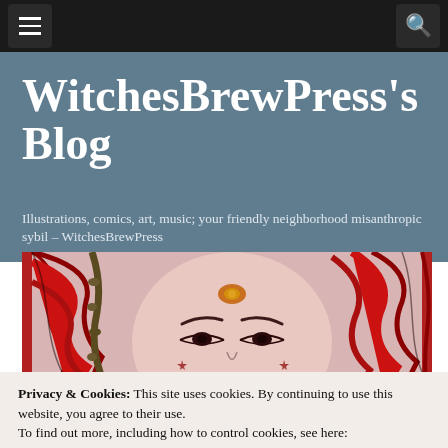WitchesBrewPress's Blog — Navigation bar with menu and search icons
WitchesBrewPress's Blog
Illustrations, comics, art, music; your friendly neighborhood misanthropic sybil – WitchesBrewPress
[Figure (illustration): Colorful comic illustration of a woman with flowing red hair and a decorative headpiece, drawn in a bold graphic style with pink and dark outlines]
Privacy & Cookies: This site uses cookies. By continuing to use this website, you agree to their use.
To find out more, including how to control cookies, see here:
Cookie Policy
Close and accept
COMIC ILLUSTRATION, COMICS, COMICS AND